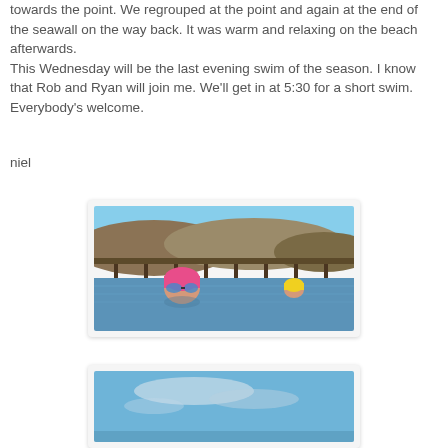towards the point. We regrouped at the point and again at the end of the seawall on the way back. It was warm and relaxing on the beach afterwards.
This Wednesday will be the last evening swim of the season. I know that Rob and Ryan will join me. We'll get in at 5:30 for a short swim. Everybody's welcome.
niel
[Figure (photo): Two swimmers in open water near a wooden pier/dock. One swimmer in the foreground wears a pink swim cap and blue goggles, visible from the shoulders up. Another swimmer in a yellow cap is visible in the background to the right. Hills are visible in the background behind the pier.]
[Figure (photo): Partially visible photo showing a blue sky with some clouds, appears to be an outdoor scene near water.]